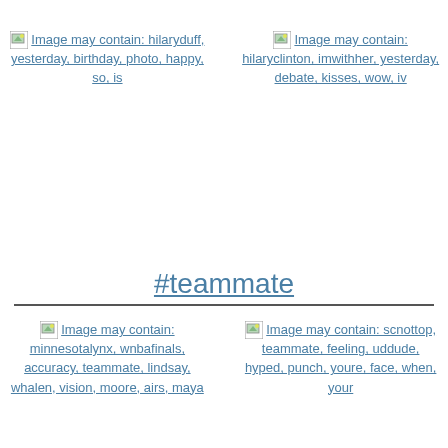[Figure (other): Broken image placeholder with link text: Image may contain: hilaryduff, yesterday, birthday, photo, happy, so, is]
[Figure (other): Broken image placeholder with link text: Image may contain: hilaryclinton, imwithher, yesterday, debate, kisses, wow, iv]
#teammate
[Figure (other): Broken image placeholder with link text: Image may contain: minnesotalynx, wnbafinals, accuracy, teammate, lindsay, whalen, vision, moore, airs, maya]
[Figure (other): Broken image placeholder with link text: Image may contain: scnottop, teammate, feeling, uddude, hyped, punch, youre, face, when, your]